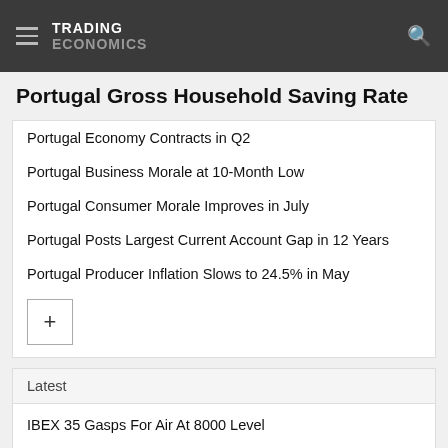TRADING ECONOMICS
Portugal Gross Household Saving Rate
Portugal Economy Contracts in Q2
Portugal Business Morale at 10-Month Low
Portugal Consumer Morale Improves in July
Portugal Posts Largest Current Account Gap in 12 Years
Portugal Producer Inflation Slows to 24.5% in May
Latest
IBEX 35 Gasps For Air At 8000 Level
Euro Area Consumer Confidence Rises from Record Low
Euro Area Services Sentiment Lowest since May 2021